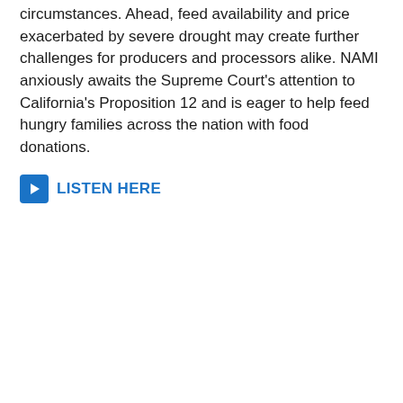circumstances. Ahead, feed availability and price exacerbated by severe drought may create further challenges for producers and processors alike. NAMI anxiously awaits the Supreme Court's attention to California's Proposition 12 and is eager to help feed hungry families across the nation with food donations.
LISTEN HERE